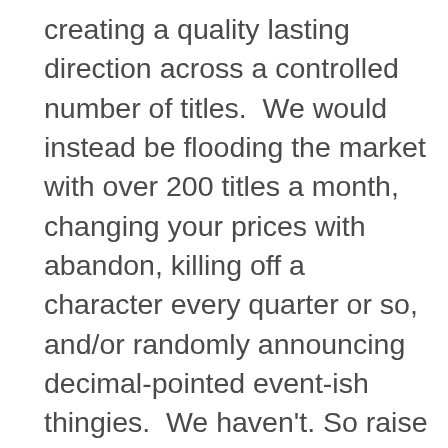creating a quality lasting direction across a controlled number of titles.  We would instead be flooding the market with over 200 titles a month, changing your prices with abandon, killing off a character every quarter or so, and/or randomly announcing decimal-pointed event-ish thingies.  We haven't. So raise a glass – a real physical glass that feels good to the touch and is a lasting part of your collection, or one of those corny little drinking apps you're temporarily enjoying on your mobile device – to DC Comics – The New 52. We are just getting started, but we are sure proud of our recent steps.  And we sure do